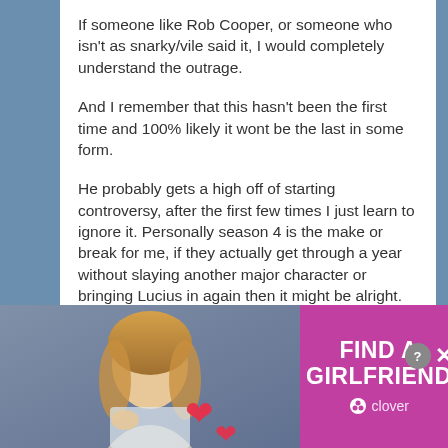If someone like Rob Cooper, or someone who isn't as snarky/vile said it, I would completely understand the outrage.
And I remember that this hasn't been the first time and 100% likely it wont be the last in some form.
He probably gets a high off of starting controversy, after the first few times I just learn to ignore it. Personally season 4 is the make or break for me, if they actually get through a year without slaying another major character or bringing Lucius in again then it might be alright.
Then again another side of me thinks that Sci-Fi will can Atlantis whether or not it gets good ratings.
I'm proud to be an American.
[Figure (photo): Partial thumbnail image of a person, cropped at bottom]
[Figure (infographic): Advertisement banner: FIND A GIRLFRIEND by clover, purple background with photo of woman and hearts]